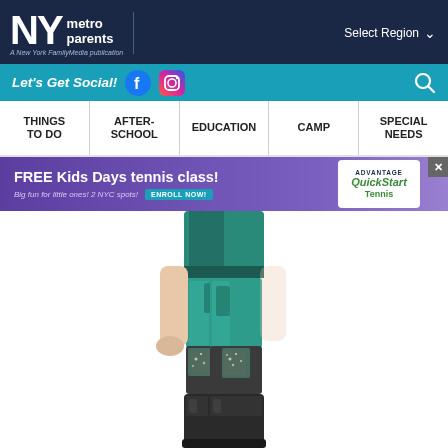NY metro parents — A New York FamilyMedia publication | Select Region
Let's Get Social! [Facebook] [Instagram] [Search]
THINGS TO DO | AFTER-SCHOOL | EDUCATION | CAMP | SPECIAL NEEDS
[Figure (infographic): Advertisement banner: FREE Kids Days tennis class! Big fun for little ones! 2 NYC spots! ENROLL NOW! — Advantage QuickStart Tennis logo]
[Figure (photo): Person wearing teal/green metallic Descendants costume leggings with dark patchwork detail and black boots, shown from waist down]